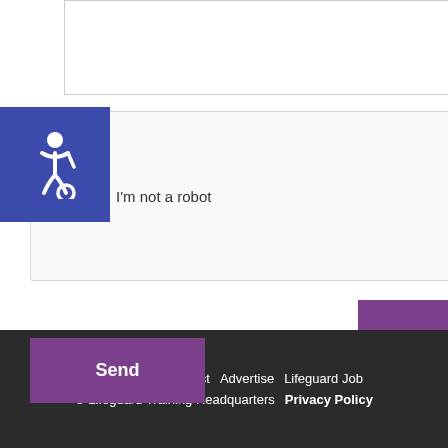[Figure (screenshot): Textarea input box for form message]
[Figure (screenshot): Accessibility icon — blue square with wheelchair symbol]
[Figure (screenshot): reCAPTCHA widget with checkbox 'I'm not a robot', Google reCAPTCHA logo, Privacy and Terms links]
[Figure (screenshot): Purple Send button]
About  Blog  Contact  Advertise  Lifeguard Job
© Lifeguard Training Headquarters  Privacy Policy